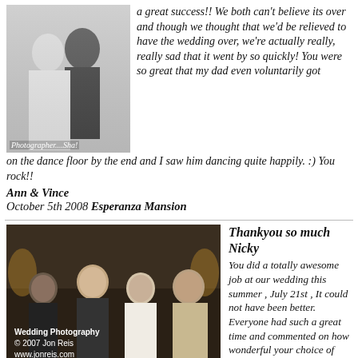[Figure (photo): Black and white wedding photo showing a bride and groom, with caption 'Photographer....Sha!']
a great success!! We both can't believe its over and though we thought that we'd be relieved to have the wedding over, we're actually really, really sad that it went by so quickly! You were so great that my dad even voluntarily got on the dance floor by the end and I saw him dancing quite happily. :) You rock!!
Ann & Vince
October 5th 2008 Esperanza Mansion
[Figure (photo): Color wedding photo showing four people posing together (Road crew) Jeannette L, Dustin Brown (Los Angeles Kings), Nicole, Nicky Wood. Wedding Photography © 2007 Jon Reis www.jonreis.com]
(Road crew) Jeannette L , Dustin Brown (Los Angeles Kings) , Nicole , Nicky Wood.
Thankyou so much Nicky You did a totally awesome job at our wedding this summer , July 21st , It could not have been better. Everyone had such a great time and commented on how wonderful your choice of music was &